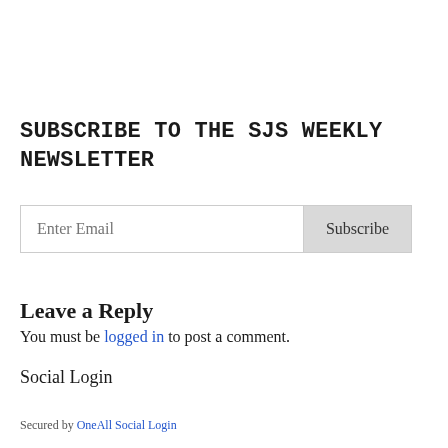SUBSCRIBE TO THE SJS WEEKLY NEWSLETTER
[Figure (other): Email subscription form with 'Enter Email' input field and 'Subscribe' button]
Leave a Reply
You must be logged in to post a comment.
Social Login
Secured by OneAll Social Login